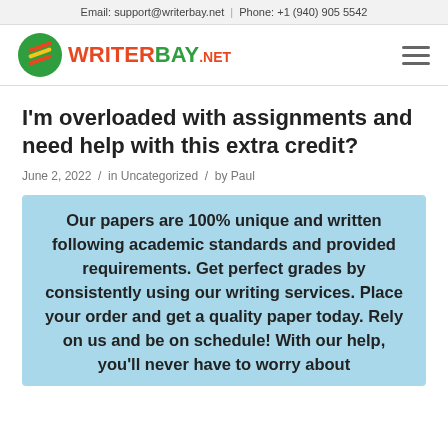Email: support@writerbay.net | Phone: +1 (940) 905 5542
[Figure (logo): WriterBay.net logo with green circle icon and colored text]
I'm overloaded with assignments and need help with this extra credit?
June 2, 2022 / in Uncategorized / by Paul
Our papers are 100% unique and written following academic standards and provided requirements. Get perfect grades by consistently using our writing services. Place your order and get a quality paper today. Rely on us and be on schedule! With our help, you'll never have to worry about deadlines anymore. Take advantage of our writing services and get a custom paper today.